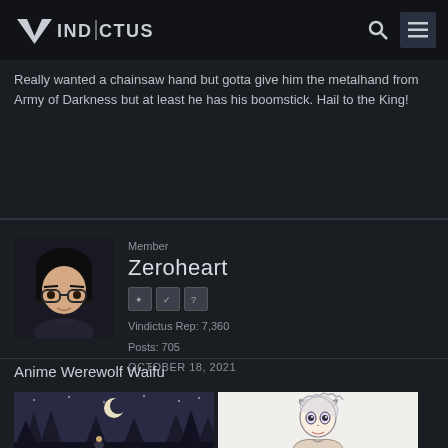VINDICTUS
Really wanted a chainsaw hand but gotta give him the metalhand from Army of Darkness but at least he has his boomstick. Hail to the King!
Member
Zeroheart
Vindictus Rep: 7,360
Posts: 705
OCTOBER 18, 2021
Anime Werewolf Waifu
[Figure (photo): Forest night scene with full moon and trees]
[Figure (illustration): Anime character illustration with white/silver hair]